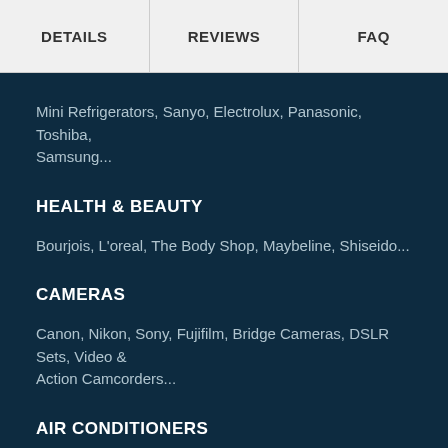DETAILS | REVIEWS | FAQ
Mini Refrigerators, Sanyo, Electrolux, Panasonic, Toshiba, Samsung...
HEALTH & BEAUTY
Bourjois, L'oreal, The Body Shop, Maybeline, Shiseido...
CAMERAS
Canon, Nikon, Sony, Fujifilm, Bridge Cameras, DSLR Sets, Video & Action Camcorders...
AIR CONDITIONERS
Daikin, Electrolux, LG, Mitsubishi, Panasonic, Samsung, Sharp...